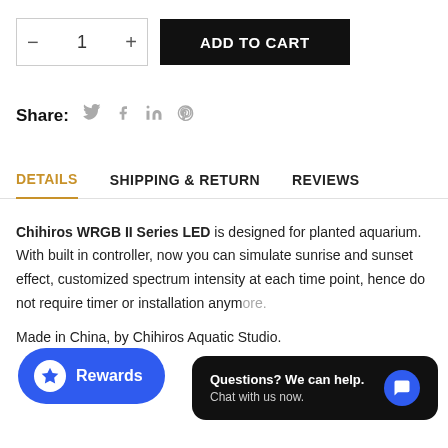— 1 + ADD TO CART
Share:
DETAILS  SHIPPING & RETURN  REVIEWS
Chihiros WRGB II Series LED is designed for planted aquarium. With built in controller, now you can simulate sunrise and sunset effect, customized spectrum intensity at each time point, hence do not require timer or installation anymore.
Made in China, by Chihiros Aquatic Studio.